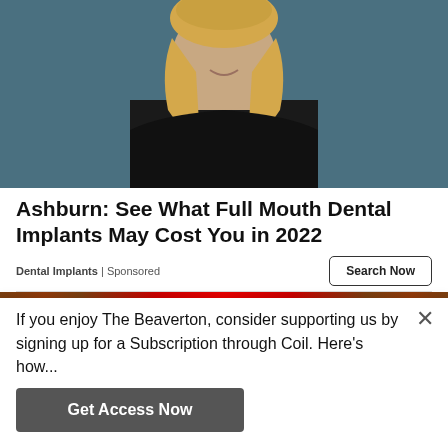[Figure (photo): Portrait photo of a smiling blonde woman wearing a black top, against a dark teal/grey background]
Ashburn: See What Full Mouth Dental Implants May Cost You in 2022
Dental Implants | Sponsored
[Figure (photo): Partial image of a scene with red and brown colors, partially obscured by overlay]
If you enjoy The Beaverton, consider supporting us by signing up for a Subscription through Coil. Here's how...
Get Access Now